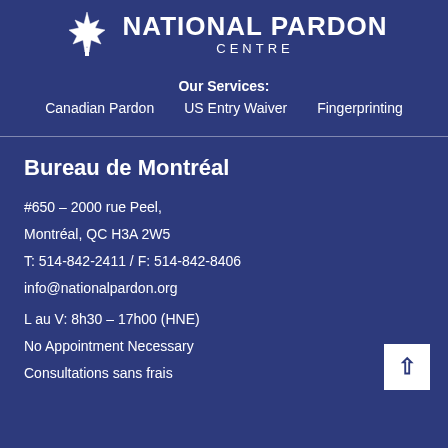[Figure (logo): National Pardon Centre logo with maple leaf emblem and text 'NATIONAL PARDON CENTRE']
Our Services:
Canadian Pardon    US Entry Waiver    Fingerprinting
Bureau de Montréal
#650 – 2000 rue Peel,
Montréal, QC H3A 2W5
T: 514-842-2411 / F: 514-842-8406
info@nationalpardon.org
L au V: 8h30 – 17h00 (HNE)
No Appointment Necessary
Consultations sans frais